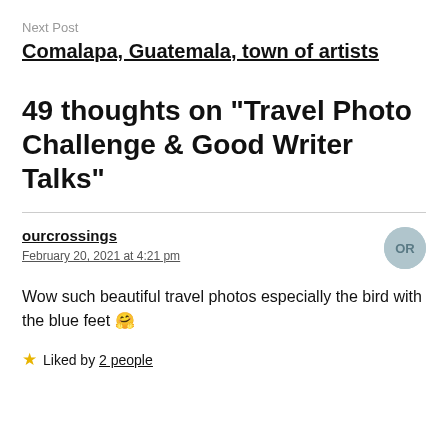Next Post
Comalapa, Guatemala, town of artists
49 thoughts on “Travel Photo Challenge & Good Writer Talks”
ourcrossings
February 20, 2021 at 4:21 pm
Wow such beautiful travel photos especially the bird with the blue feet 🤗
★ Liked by 2 people